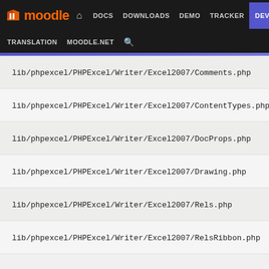moodle DOCS DOWNLOADS DEMO TRACKER DEV TRANSLATION MOODLE.NET
lib/phpexcel/PHPExcel/Writer/Excel2007/Comments.php
lib/phpexcel/PHPExcel/Writer/Excel2007/ContentTypes.php
lib/phpexcel/PHPExcel/Writer/Excel2007/DocProps.php
lib/phpexcel/PHPExcel/Writer/Excel2007/Drawing.php
lib/phpexcel/PHPExcel/Writer/Excel2007/Rels.php
lib/phpexcel/PHPExcel/Writer/Excel2007/RelsRibbon.php